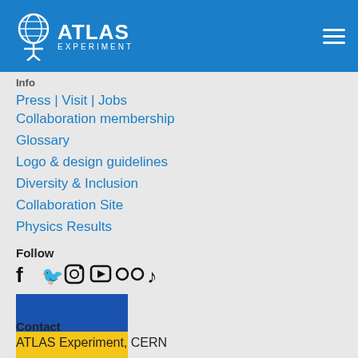ATLAS EXPERIMENT
Info
Press | Visit | Jobs
Collaboration membership
Glossary
Logo & design guidelines
Diversity & Inclusion
Collaboration Site
Physics Results
Follow
[Figure (illustration): Social media icons: Facebook, Twitter, Instagram, YouTube, Flickr, TikTok]
[Figure (illustration): Ukrainian flag — blue top half, yellow bottom half]
Contact
ATLAS Experiment, CERN